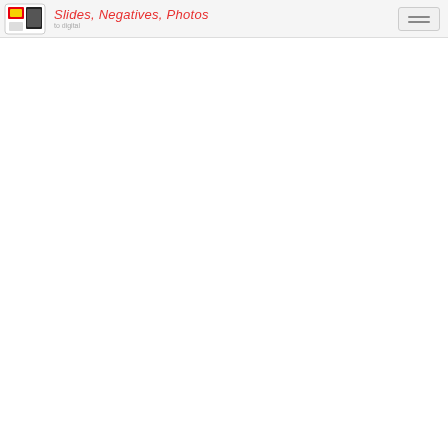Slides, Negatives, Photos
[Figure (screenshot): Blank white content area below the header bar]